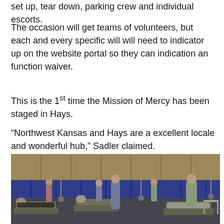set up, tear down, parking crew and individual escorts.
The occasion will get teams of volunteers, but each and every specific will will need to indicator up on the website portal so they can indication an function waiver.
This is the 1st time the Mission of Mercy has been staged in Hays.
“Northwest Kansas and Hays are a excellent locale and wonderful hub,” Sadler claimed.
[Figure (photo): A large indoor hall set up as a free dental clinic. Multiple dental chairs are occupied by patients lying back while masked dental professionals work on them. Blue curtain dividers line the back wall. Bright overhead lighting illuminates the busy scene.]